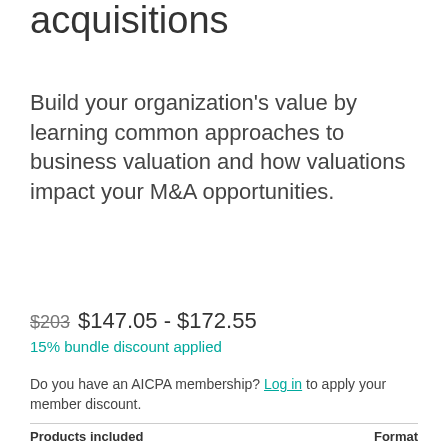acquisitions
Build your organization's value by learning common approaches to business valuation and how valuations impact your M&A opportunities.
$203  $147.05 - $172.55
15% bundle discount applied
Do you have an AICPA membership? Log in to apply your member discount.
Products included    Format